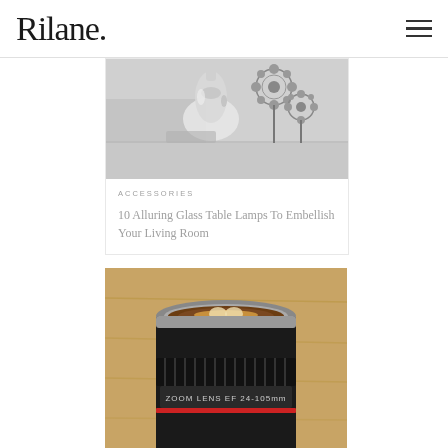Rilane.
[Figure (photo): Black and white photo of home decor accessories including a mercury glass vase and metal flower sculptures on a surface]
ACCESSORIES
10 Alluring Glass Table Lamps To Embellish Your Living Room
[Figure (photo): Photo of a coffee mug designed to look like a Canon camera zoom lens (ZOOM LENS EF 24-105mm) sitting on a wooden surface with a latte art coffee inside]